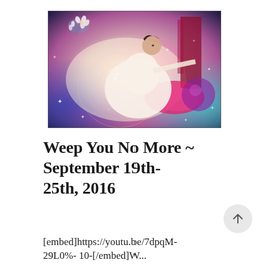[Figure (illustration): A colorful artistic illustration of a woman in a white flowing dress in a dreamlike, cosmic setting with pink, purple, blue, and teal hues, flowers in the upper left, and sparkle/star effects scattered throughout.]
Weep You No More ~ September 19th-25th, 2016
[embed]https://youtu.be/7dpqM-29L0%- 10-[/embed]W...